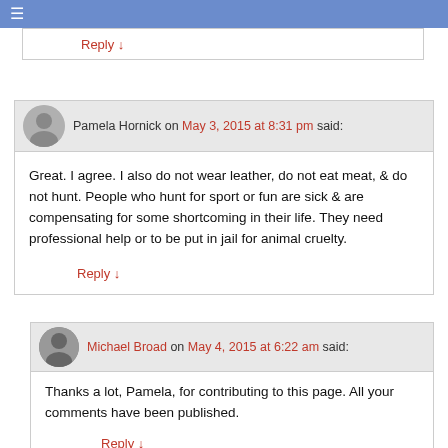≡
Reply ↓
Pamela Hornick on May 3, 2015 at 8:31 pm said:
Great. I agree. I also do not wear leather, do not eat meat, & do not hunt. People who hunt for sport or fun are sick & are compensating for some shortcoming in their life. They need professional help or to be put in jail for animal cruelty.
Reply ↓
Michael Broad on May 4, 2015 at 6:22 am said:
Thanks a lot, Pamela, for contributing to this page. All your comments have been published.
Reply ↓